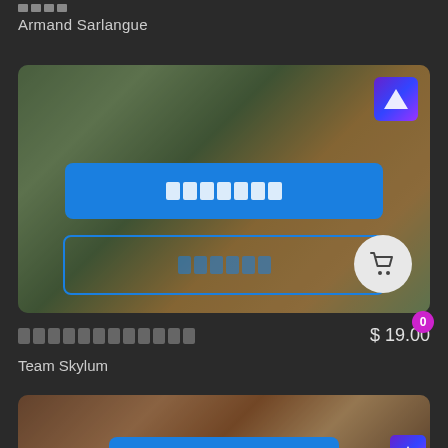Armand Sarlangue
[Figure (screenshot): Mobile app screen showing a product card with a woman taking a selfie background photo, Skylum logo in top right, a blue filled button with redacted text, and an outlined button with redacted text]
[Redacted product title] $ 19.00
Team Skylum
[Figure (screenshot): Shopping cart icon button with badge showing 0 items]
[Figure (screenshot): Partially visible second product card with two people in background, Skylum logo, and blue button with redacted text at bottom]